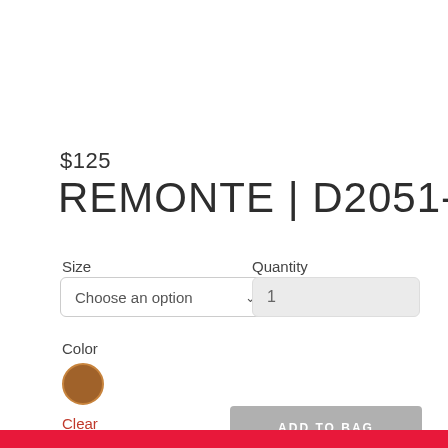$125
REMONTE | D2051-24
Size
Quantity
Choose an option
1
Color
Clear
ADD TO BAG